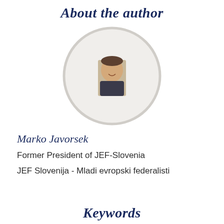About the author
[Figure (photo): Circular framed author photo of Marko Javorsek, a young man smiling, displayed within a light gray circle border]
Marko Javorsek
Former President of JEF-Slovenia
JEF Slovenija - Mladi evropski federalisti
Keywords